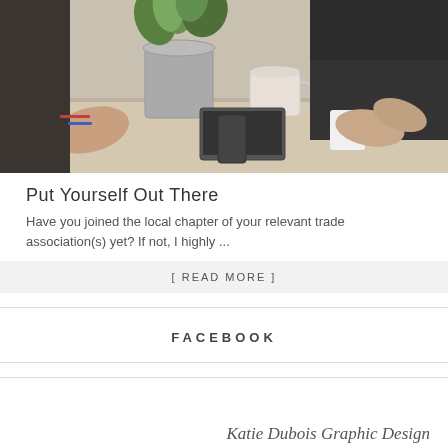[Figure (photo): Business meeting scene: people in suits around a table with a potted plant, coffee cup, and mobile devices. Hands visible, close-up view.]
Put Yourself Out There
Have you joined the local chapter of your relevant trade association(s) yet? If not, I highly ...
[ READ MORE ]
FACEBOOK
Katie Dubois Graphic Design